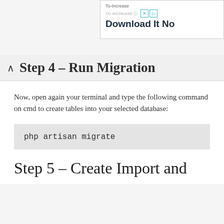[Figure (screenshot): Advertisement banner for 'To-Increase Download It Now' with logo icons]
Step 4 – Run Migration
Now, open again your terminal and type the following command on cmd to create tables into your selected database:
Step 5 – Create Import and